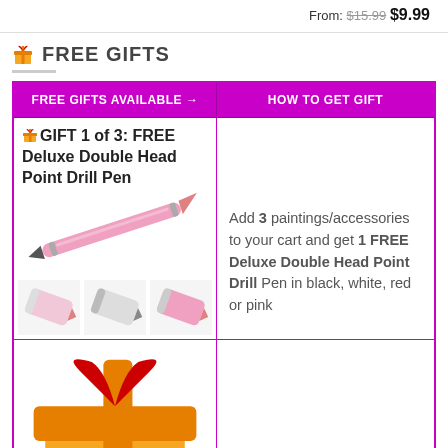From: $15.99 $9.99
FREE GIFTS
| FREE GIFTS AVAILABLE → | HOW TO GET GIFT |
| --- | --- |
| 🎁 GIFT 1 of 3: FREE Deluxe Double Head Point Drill Pen [image of drill pen] | Add 3 paintings/accessories to your cart and get 1 FREE Deluxe Double Head Point Drill Pen in black, white, red or pink |
| 🎁 GIFT 2 of 3: FREE 28 |  |